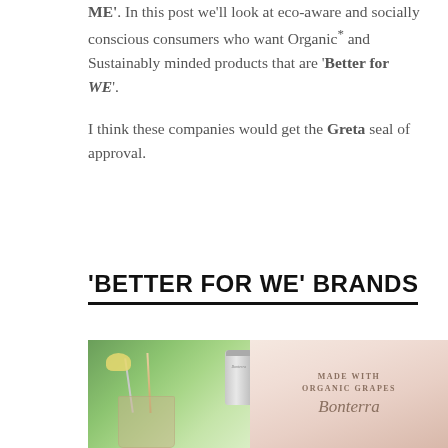ME'. In this post we'll look at eco-aware and socially conscious consumers who want Organic* and Sustainably minded products that are 'Better for WE'.
I think these companies would get the Greta seal of approval.
'BETTER FOR WE' BRANDS
[Figure (photo): Photo of Bonterra organic wine products including a pink carton box labeled 'Made with Organic Grapes' with the Bonterra script logo, a metallic can with Bonterra label, and cocktail glasses with fruit garnishes and straws, with green plants in the background.]